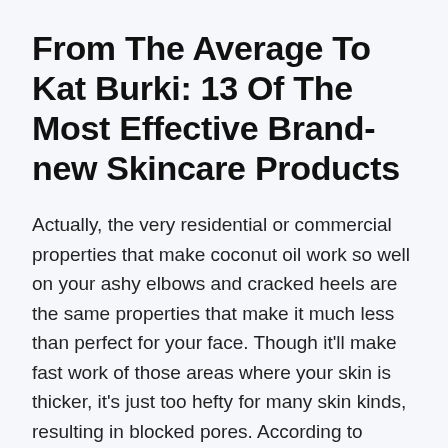From The Average To Kat Burki: 13 Of The Most Effective Brand-new Skincare Products
Actually, the very residential or commercial properties that make coconut oil work so well on your ashy elbows and cracked heels are the same properties that make it much less than perfect for your face. Though it'll make fast work of those areas where your skin is thicker, it's just too hefty for many skin kinds, resulting in blocked pores. According to dermatologists, few topical collagen skin supplements measure up to the buzz, and coconut oil is no exception.